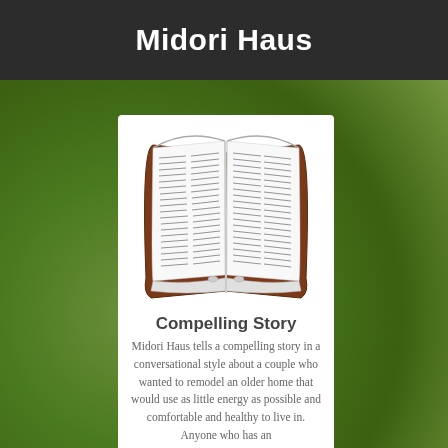Midori Haus
[Figure (illustration): Open book illustration with lined pages, brown hardcover binding, pages spread open showing two columns of text lines on each side]
Compelling Story
Midori Haus tells a compelling story in a conversational style about a couple who wanted to remodel an older home that would use as little energy as possible and comfortable and healthy to live in. Anyone who has an